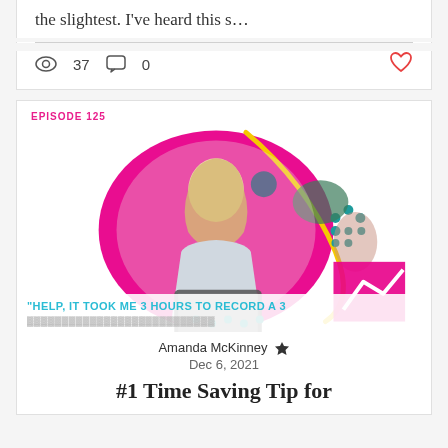the slightest. I've heard this s…
37  0
[Figure (screenshot): Blog/podcast listing screenshot showing episode 125 card with photo of blonde woman at laptop, pink circular design, teal text overlay reading HELP, IT TOOK ME 3 HOURS TO RECORD A 3...]
Amanda McKinney
Dec 6, 2021
#1 Time Saving Tip for